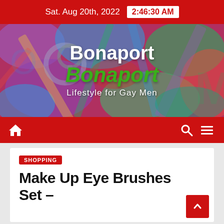Sat. Aug 20th, 2022  2:46:30 AM
[Figure (illustration): Bonaport website banner with colorful abstract background. Text reads: Bonaport (white), Bonaport (green italic), Lifestyle for Gay Men (white subtitle)]
Navigation bar with home icon, search icon, and hamburger menu
SHOPPING
Make Up Eye Brushes Set –